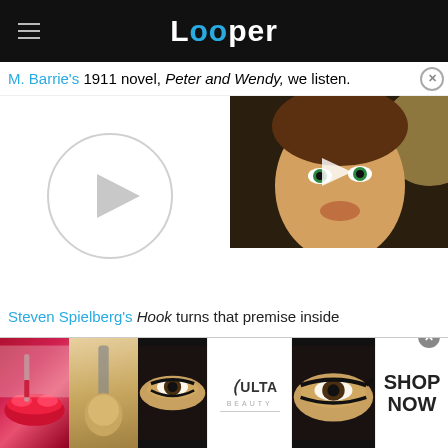Looper
M. Barrie's 1911 novel, Peter and Wendy, we listen.
[Figure (screenshot): Video player area with circular play button on the left and a video thumbnail on the right showing a man's face with a play button overlay]
Steven Spielberg's Hook turns that premise inside
[Figure (photo): Ulta Beauty advertisement banner showing makeup images (lips with lipstick, makeup brush, eye makeup, Ulta logo, eye makeup) with SHOP NOW call to action]